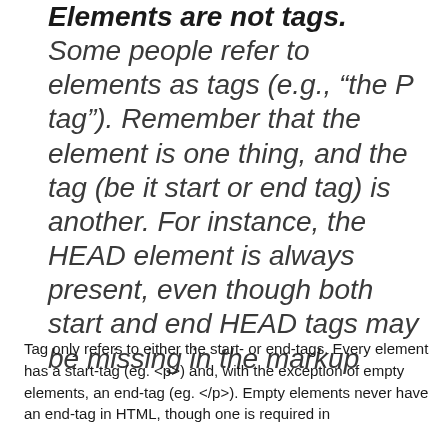Elements are not tags. Some people refer to elements as tags (e.g., “the P tag”). Remember that the element is one thing, and the tag (be it start or end tag) is another. For instance, the HEAD element is always present, even though both start and end HEAD tags may be missing in the markup
Tag only refers to either the start- or end-tags. Every element has a start-tag (eg. <p>) and, with the exception of empty elements, an end-tag (eg. </p>). Empty elements never have an end-tag in HTML, though one is required in